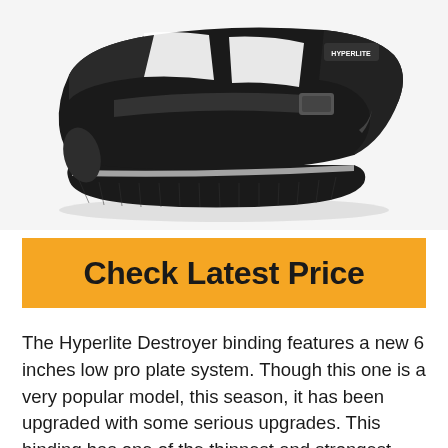[Figure (photo): Black and white wakeboard binding shoe (Hyperlite Destroyer) viewed from the side, showing low-profile design with white stripe accents and black base plate.]
Check Latest Price
The Hyperlite Destroyer binding features a new 6 inches low pro plate system. Though this one is a very popular model, this season, it has been upgraded with some serious upgrades. This binding has one of the thinnest and strongest base plates in the